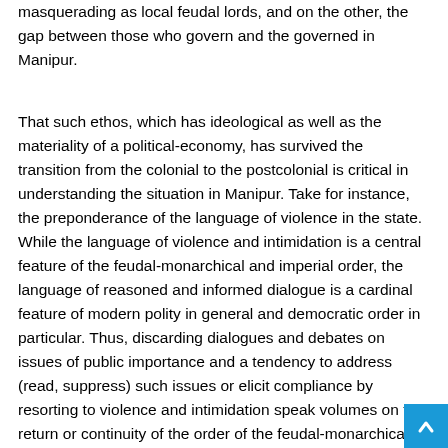masquerading as local feudal lords, and on the other, the gap between those who govern and the governed in Manipur.
That such ethos, which has ideological as well as the materiality of a political-economy, has survived the transition from the colonial to the postcolonial is critical in understanding the situation in Manipur. Take for instance, the preponderance of the language of violence in the state. While the language of violence and intimidation is a central feature of the feudal-monarchical and imperial order, the language of reasoned and informed dialogue is a cardinal feature of modern polity in general and democratic order in particular. Thus, discarding dialogues and debates on issues of public importance and a tendency to address (read, suppress) such issues or elicit compliance by resorting to violence and intimidation speak volumes on the return or continuity of the order of the feudal-monarchical-imperial axis in Manipur.